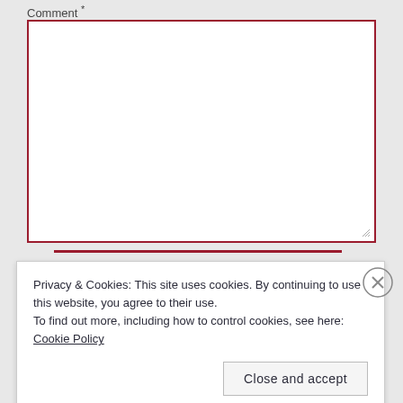Comment *
[Figure (screenshot): Empty comment text area with dark red border and resize handle at bottom right]
Privacy & Cookies: This site uses cookies. By continuing to use this website, you agree to their use.
To find out more, including how to control cookies, see here: Cookie Policy
Close and accept